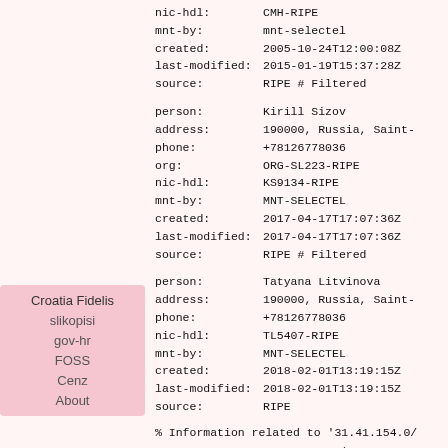nic-hdl: CMH-RIPE
mnt-by: mnt-selectel
created: 2005-10-24T12:00:08Z
last-modified: 2015-01-19T15:37:28Z
source: RIPE # Filtered
person: Kirill Sizov
address: 190000, Russia, Saint-
phone: +78126778036
org: ORG-SL223-RIPE
nic-hdl: KS9134-RIPE
mnt-by: MNT-SELECTEL
created: 2017-04-17T17:07:36Z
last-modified: 2017-04-17T17:07:36Z
source: RIPE # Filtered
person: Tatyana Litvinova
address: 190000, Russia, Saint-
phone: +78126778036
nic-hdl: TL5407-RIPE
mnt-by: MNT-SELECTEL
created: 2018-02-01T13:19:15Z
last-modified: 2018-02-01T13:19:15Z
source: RIPE
% Information related to '31.41.154.0/
route: 31.41.154.0/23
descr: Selectel Route Object...
Croatia Fidelis
slikopisi
gov-hr
FOSS
Cenz
About